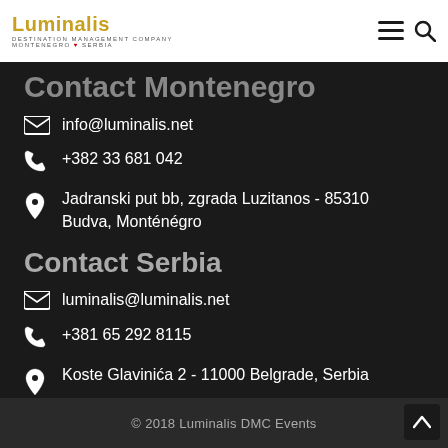Luminalis — DESTINATION MANAGEMENT COMPANY MONTENEGRO ♥ SERBIA
Contact Montenegro
info@luminalis.net
+382 33 681 042
Jadranski put bb, zgrada Luzitanos - 85310 Budva, Monténégro
Contact Serbia
luminalis@luminalis.net
+381 65 292 8115
Koste Glavinića 2 - 11000 Belgrade, Serbia
© 2018 Luminalis DMC Events